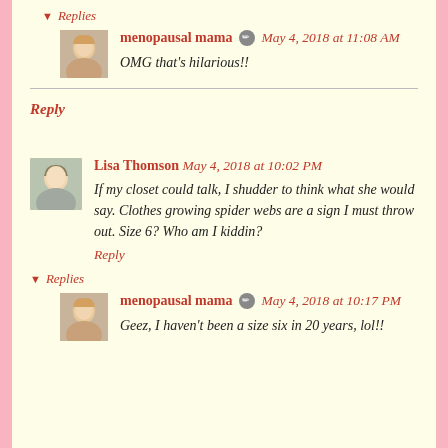▼ Replies
menopausal mama ✏ May 4, 2018 at 11:08 AM
OMG that's hilarious!!
Reply
Lisa Thomson May 4, 2018 at 10:02 PM
If my closet could talk, I shudder to think what she would say. Clothes growing spider webs are a sign I must throw out. Size 6? Who am I kiddin?
Reply
▼ Replies
menopausal mama ✏ May 4, 2018 at 10:17 PM
Geez, I haven't been a size six in 20 years, lol!!